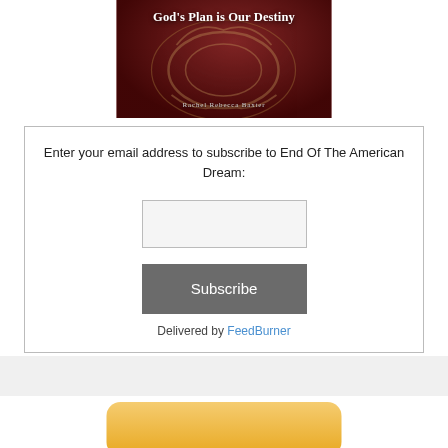[Figure (illustration): Book cover with dark red background and ornate scroll designs. Title reads 'God's Plan is Our Destiny' and author 'Rachel Rebecca Baxter' at bottom.]
Enter your email address to subscribe to End Of The American Dream:
[Figure (screenshot): Email input text field, empty, with light gray background and thin border.]
[Figure (screenshot): Subscribe button, dark gray background with white text.]
Delivered by FeedBurner